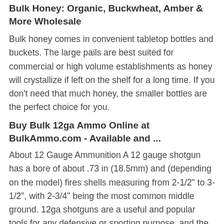Bulk Honey: Organic, Buckwheat, Amber & More Wholesale
Bulk honey comes in convenient tabletop bottles and buckets. The large pails are best suited for commercial or high volume establishments as honey will crystallize if left on the shelf for a long time. If you don't need that much honey, the smaller bottles are the perfect choice for you.
Buy Bulk 12ga Ammo Online at BulkAmmo.com - Available and ...
About 12 Gauge Ammunition A 12 gauge shotgun has a bore of about .73 in (18.5mm) and (depending on the model) fires shells measuring from 2-1/2" to 3-1/2", with 2-3/4" being the most common middle ground. 12ga shotguns are a useful and popular tools for any defensive or sporting purpose, and the 12 gauge ammo available reflects this versatility.